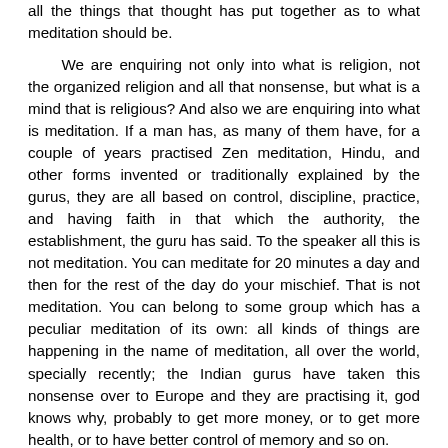all the things that thought has put together as to what meditation should be.
We are enquiring not only into what is religion, not the organized religion and all that nonsense, but what is a mind that is religious? And also we are enquiring into what is meditation. If a man has, as many of them have, for a couple of years practised Zen meditation, Hindu, and other forms invented or traditionally explained by the gurus, they are all based on control, discipline, practice, and having faith in that which the authority, the establishment, the guru has said. To the speaker all this is not meditation. You can meditate for 20 minutes a day and then for the rest of the day do your mischief. That is not meditation. You can belong to some group which has a peculiar meditation of its own: all kinds of things are happening in the name of meditation, all over the world, specially recently; the Indian gurus have taken this nonsense over to Europe and they are practising it, god knows why, probably to get more money, or to get more health, or to have better control of memory and so on.
If you will kindly listen and go into the question of what is meditation and what is religion. You may remember that story which the speaker has often repeated, probably invented that story: there were two men walking along a street looking at all the trees, the houses, and the shadows and the well-built walls and all that. They were walking along and one of them picks up something, and looks at it and immediately his face becomes